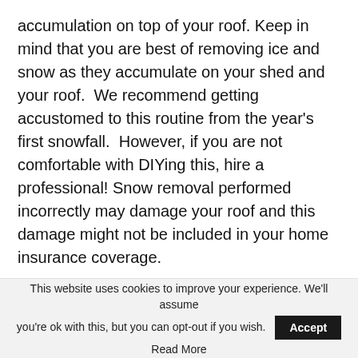accumulation on top of your roof. Keep in mind that you are best of removing ice and snow as they accumulate on your shed and your roof.  We recommend getting accustomed to this routine from the year's first snowfall.  However, if you are not comfortable with DIYing this, hire a professional! Snow removal performed incorrectly may damage your roof and this damage might not be included in your home insurance coverage.
2. Clean your roof in a safe manner
Be especially careful as you remove ice and snow
This website uses cookies to improve your experience. We'll assume you're ok with this, but you can opt-out if you wish. Accept Read More